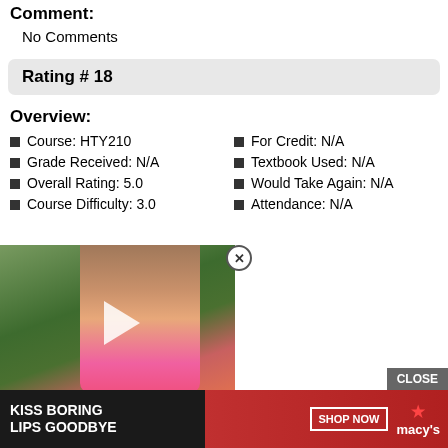Comment:
No Comments
Rating # 18
Overview:
Course: HTY210
Grade Received: N/A
Overall Rating: 5.0
Course Difficulty: 3.0
For Credit: N/A
Textbook Used: N/A
Would Take Again: N/A
Attendance: N/A
[Figure (photo): Video thumbnail of a young girl in a pink shirt outdoors with a play button overlay]
Overview:
Course: HTY104
Grade Received: A+
For Credit: N/A
Textbook Used: N/A
[Figure (photo): Advertisement banner: KISS BORING LIPS GOODBYE with SHOP NOW button and Macy's logo]